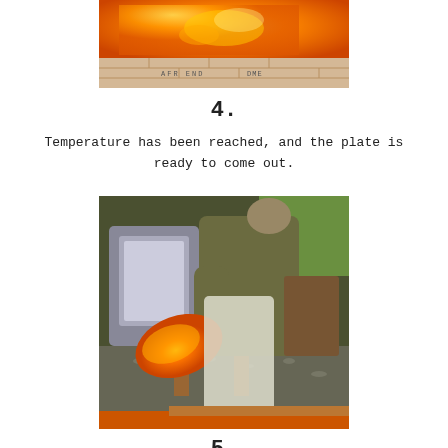[Figure (photo): Top portion of a kiln or furnace with orange glowing hot glass plate on fire bricks, text visible on bricks]
4.
Temperature has been reached, and the plate is ready to come out.
[Figure (photo): Person in protective gear removing a glowing orange glass plate from a kiln in an outdoor workshop setting]
5.